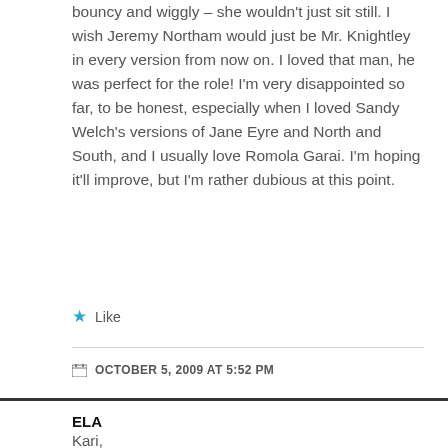bouncy and wiggly – she wouldn't just sit still. I wish Jeremy Northam would just be Mr. Knightley in every version from now on. I loved that man, he was perfect for the role! I'm very disappointed so far, to be honest, especially when I loved Sandy Welch's versions of Jane Eyre and North and South, and I usually love Romola Garai. I'm hoping it'll improve, but I'm rather dubious at this point.
★ Like
OCTOBER 5, 2009 AT 5:52 PM
ELA
Kari,